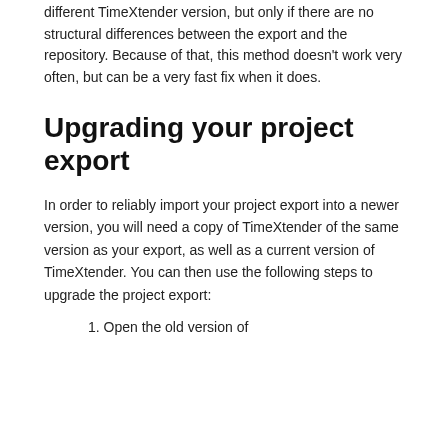different TimeXtender version, but only if there are no structural differences between the export and the repository.  Because of that, this method doesn't work very often, but can be a very fast fix when it does.
Upgrading your project export
In order to reliably import your project export into a newer version, you will need a copy of TimeXtender of the same version as your export, as well as a current version of TimeXtender.  You can then use the following steps to upgrade the project export:
1. Open the old version of